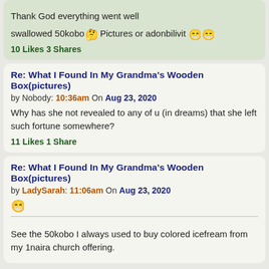Thank God everything went well
swallowed 50kobo [emoji] Pictures or adonbilivit [emoji][emoji]
10 Likes 3 Shares
Re: What I Found In My Grandma's Wooden Box(pictures)
by Nobody: 10:36am On Aug 23, 2020
Why has she not revealed to any of u (in dreams) that she left such fortune somewhere?
11 Likes 1 Share
Re: What I Found In My Grandma's Wooden Box(pictures)
by LadySarah: 11:06am On Aug 23, 2020
[emoji]
See the 50kobo I always used to buy colored icefream from my 1naira church offering.